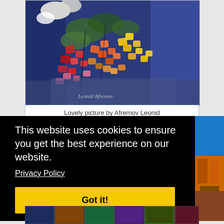[Figure (illustration): Colorful oil painting of a bouquet of flowers (reds, yellows, oranges, greens) against a blue background, with white flowers at top. Signed 'Leonid Afremov' in the lower left corner.]
Lovely picture by Afremov Leonid
This website uses cookies to ensure you get the best experience on our website. Privacy Policy
[Figure (illustration): Partial view of another colorful painting on the right side, showing blue sky and architectural elements with warm colors.]
[Figure (illustration): Partial bottom strip showing multiple small paintings in a row.]